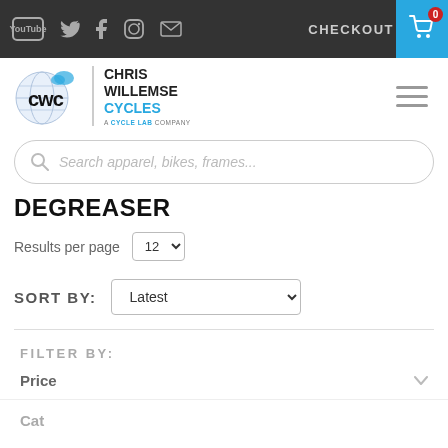CHECKOUT 0
[Figure (logo): Chris Willemse Cycles logo with globe icon]
Search apparel, bikes, frames...
DEGREASER
Results per page 12
SORT BY: Latest
FILTER BY:
Price
Categories